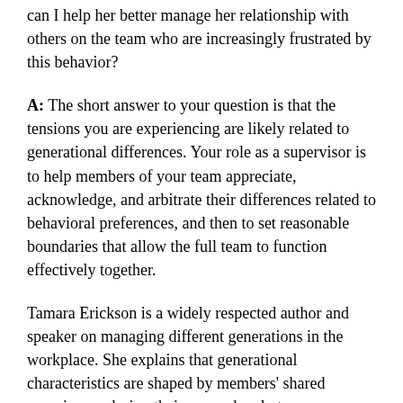can I help her better manage her relationship with others on the team who are increasingly frustrated by this behavior?
A: The short answer to your question is that the tensions you are experiencing are likely related to generational differences. Your role as a supervisor is to help members of your team appreciate, acknowledge, and arbitrate their differences related to behavioral preferences, and then to set reasonable boundaries that allow the full team to function effectively together.
Tamara Erickson is a widely respected author and speaker on managing different generations in the workplace. She explains that generational characteristics are shaped by members' shared experiences during their pre-and early teen years. Millennials were born between 1980 and 2000. Members of this generation shared two important experiences in their formative years: terrorism and